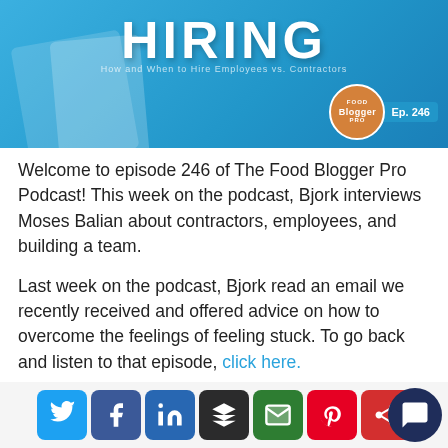[Figure (illustration): Blue gradient hero banner with the word HIRING in large bold white letters, decorative clipboard shapes, Food Blogger Pro badge circle in orange, and Ep. 246 label in blue]
Welcome to episode 246 of The Food Blogger Pro Podcast! This week on the podcast, Bjork interviews Moses Balian about contractors, employees, and building a team.
Last week on the podcast, Bjork read an email we recently received and offered advice on how to overcome the feelings of feeling stuck. To go back and listen to that episode, click here.
[Figure (infographic): Social sharing icon bar with Twitter, Facebook, LinkedIn, Buffer, Email, Pinterest, and phone/share icons]